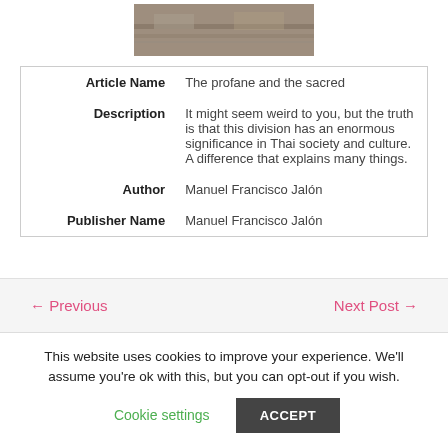[Figure (photo): A nature/landscape photo showing water or rocks, partially visible at top]
| Article Name | The profane and the sacred |
| Description | It might seem weird to you, but the truth is that this division has an enormous significance in Thai society and culture. A difference that explains many things. |
| Author | Manuel Francisco Jalón |
| Publisher Name | Manuel Francisco Jalón |
← Previous
Next Post →
This website uses cookies to improve your experience. We'll assume you're ok with this, but you can opt-out if you wish.
Cookie settings
ACCEPT